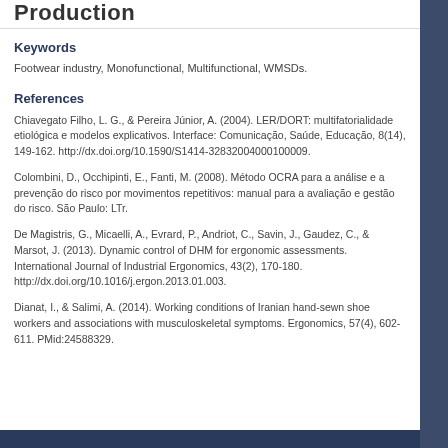Keywords
Footwear industry, Monofunctional, Multifunctional, WMSDs.
References
Chiavegato Filho, L. G., & Pereira Júnior, A. (2004). LER/DORT: multifatorialidade etiológica e modelos explicativos. Interface: Comunicação, Saúde, Educação, 8(14), 149-162. http://dx.doi.org/10.1590/S1414-32832004000100009.
Colombini, D., Occhipinti, E., Fanti, M. (2008). Método OCRA para a análise e a prevenção do risco por movimentos repetitivos: manual para a avaliação e gestão do risco. São Paulo: LTr.
De Magistris, G., Micaelli, A., Evrard, P., Andriot, C., Savin, J., Gaudez, C., & Marsot, J. (2013). Dynamic control of DHM for ergonomic assessments. International Journal of Industrial Ergonomics, 43(2), 170-180. http://dx.doi.org/10.1016/j.ergon.2013.01.003.
Dianat, I., & Salimi, A. (2014). Working conditions of Iranian hand-sewn shoe workers and associations with musculoskeletal symptoms. Ergonomics, 57(4), 602-611. PMid:24588329.